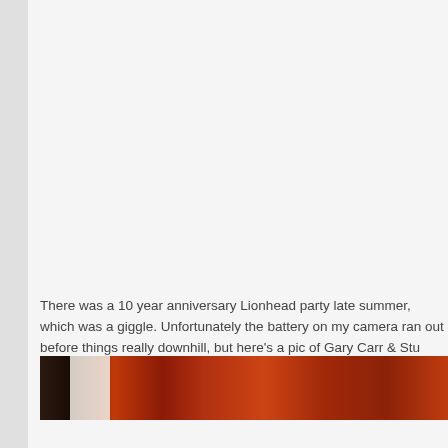There was a 10 year anniversary Lionhead party late summer, which was a giggle. Unfortunately the battery on my camera ran out before things really downhill, but here's a pic of Gary Carr & Stu Whyte taken while things wer
[Figure (photo): Partial photo strip showing people at a party, with dark red/brown patterned background visible, cropped at the bottom of the page]